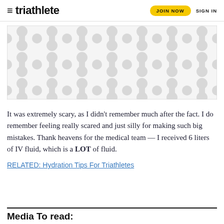≡ triathlete   JOIN NOW   SIGN IN
[Figure (illustration): Decorative placeholder image with a light grey background featuring a repeating pattern of rounded teardrop/dumbbell shapes in a slightly darker grey.]
It was extremely scary, as I didn't remember much after the fact. I do remember feeling really scared and just silly for making such big mistakes. Thank heavens for the medical team — I received 6 liters of IV fluid, which is a LOT of fluid.
RELATED: Hydration Tips For Triathletes
Media To read: